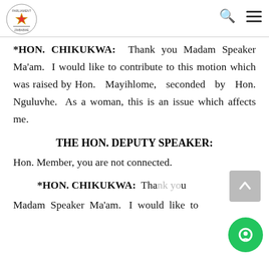Parliament of Zimbabwe logo, search icon, menu icon
*HON. CHIKUKWA: Thank you Madam Speaker Ma'am. I would like to contribute to this motion which was raised by Hon. Mayihlome, seconded by Hon. Nguluvhe. As a woman, this is an issue which affects me.
THE HON. DEPUTY SPEAKER:
Hon. Member, you are not connected.
*HON. CHIKUKWA: Thank you Madam Speaker Ma'am. I would like to